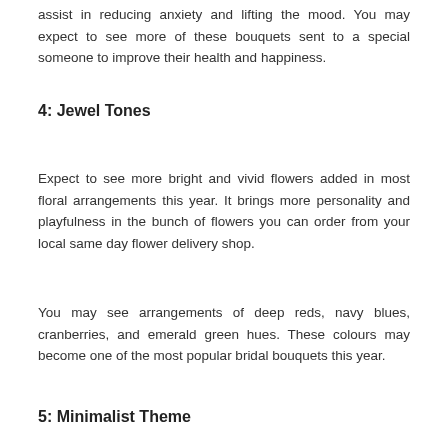assist in reducing anxiety and lifting the mood. You may expect to see more of these bouquets sent to a special someone to improve their health and happiness.
4: Jewel Tones
Expect to see more bright and vivid flowers added in most floral arrangements this year. It brings more personality and playfulness in the bunch of flowers you can order from your local same day flower delivery shop.
You may see arrangements of deep reds, navy blues, cranberries, and emerald green hues. These colours may become one of the most popular bridal bouquets this year.
5: Minimalist Theme